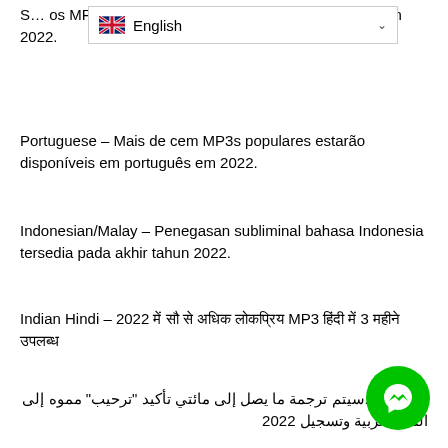S... os MP3 populares estarán disponibles en espanol en 2022.
Portuguese – Mais de cem MP3s populares estarão disponíveis em português em 2022.
Indonesian/Malay – Penegasan subliminal bahasa Indonesia tersedia pada akhir tahun 2022.
Indian Hindi – 2022 में सौ से अधिक लोकप्रिय MP3 हिंदी में 3 महीने उपलब्ध
سيتم ترجمة ما يصل إلى مائتي تأكيد "ترحيب" مموه إلى اللغة العربية وتسجيل 2022. – Arabic
Why introduce foreign language subliminal affirmation titles? (Click Here to read)